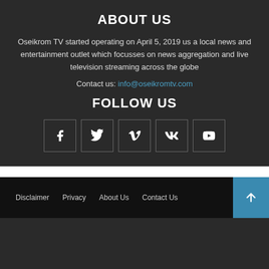ABOUT US
Oseikrom TV started operating on April 5, 2019 us a local news and entertainment outlet which focusses on news aggregation and live television streaming across the globe
Contact us: info@oseikromtv.com
FOLLOW US
[Figure (infographic): Five social media icon boxes: Facebook (f), Twitter (bird), Vimeo (V), VK (VK), YouTube (play button)]
Disclaimer   Privacy   About Us   Contact Us